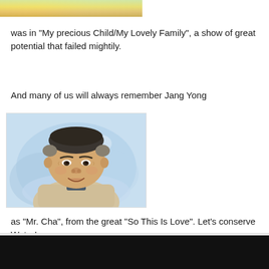[Figure (illustration): Partial top of an illustration showing colorful background with yellow/gold hues, cropped at top of page]
was in "My precious Child/My Lovely Family", a show of great potential that failed mightily.
And many of us will always remember Jang Yong
[Figure (illustration): Portrait illustration of an older Asian man with short gray hair, smiling, wearing a beige/khaki jacket over a dark shirt, against a soft blue watercolor background]
as "Mr. Cha", from the great "So This Is Love". Let's conserve Water!
PippiBella
Special Moderator
★★★★★